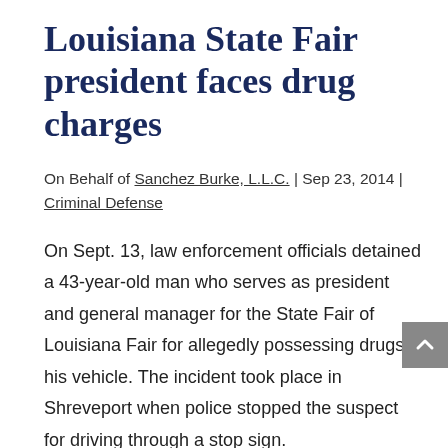Louisiana State Fair president faces drug charges
On Behalf of Sanchez Burke, L.L.C. | Sep 23, 2014 | Criminal Defense
On Sept. 13, law enforcement officials detained a 43-year-old man who serves as president and general manager for the State Fair of Louisiana Fair for allegedly possessing drugs in his vehicle. The incident took place in Shreveport when police stopped the suspect for driving through a stop sign.
According to the report, police stated that they located a small amount marijuana when they searched the vehicle. Officers then stated the